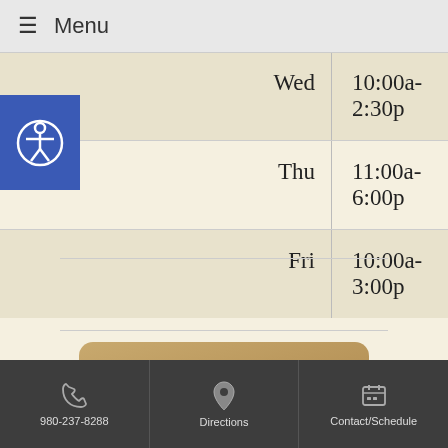☰ Menu
| Day | Hours |
| --- | --- |
| Wed | 10:00a-2:30p |
| Thu | 11:00a-6:00p |
| Fri | 10:00a-3:00p |
[Figure (logo): HealthWellNews Summer banner logo with sandy beach background and starfish]
980-237-8288 | Directions | Contact/Schedule